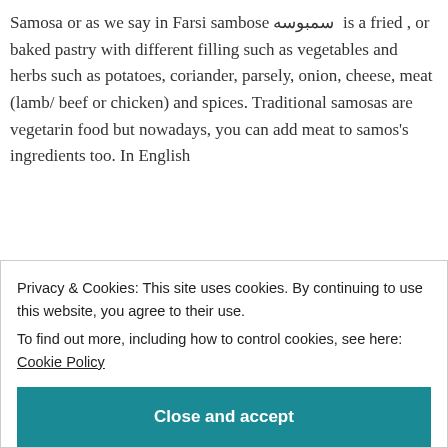Samosa or as we say in Farsi sambose سمبوسه is a fried , or baked pastry with different filling such as vegetables and herbs such as potatoes, coriander, parsely, onion, cheese, meat (lamb/ beef or chicken) and spices. Traditional samosas are vegetarin food but nowadays, you can add meat to samos's ingredients too. In English
Continue reading →
rozinaspersiankitchen   July 8, 2018
Privacy & Cookies: This site uses cookies. By continuing to use this website, you agree to their use.
To find out more, including how to control cookies, see here: Cookie Policy
Close and accept